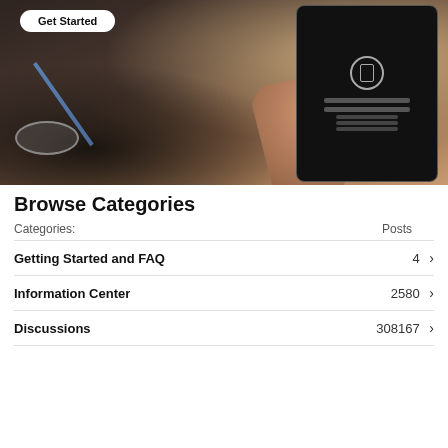[Figure (photo): Hero image showing a hand holding a tablet/iPad on a wooden desk with glasses and a pencil nearby. A 'Get Started' button is overlaid on the image.]
Browse Categories
| Categories: | Posts |
| --- | --- |
| Getting Started and FAQ | 4 |
| Information Center | 2580 |
| Discussions | 308167 |
[Figure (screenshot): Tab bar showing 'My Fios' (active) and 'Fios TV' tabs, with a preview of the Fios app below showing the fios logo on a dark background.]